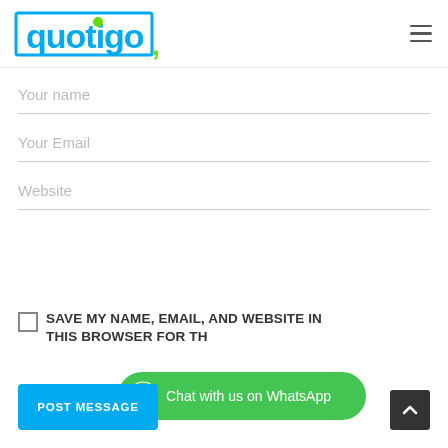[Figure (logo): Quotigo logo with blue bracket outline and green dot on 'i' and comma]
[Figure (other): Hamburger menu icon (three horizontal lines)]
Your name
Your Email
Website
SAVE MY NAME, EMAIL, AND WEBSITE IN THIS BROWSER FOR TH...
[Figure (screenshot): Green WhatsApp chat bubble: Chat with us on WhatsApp]
POST MESSAGE
[Figure (other): Dark scroll-to-top button with upward chevron]